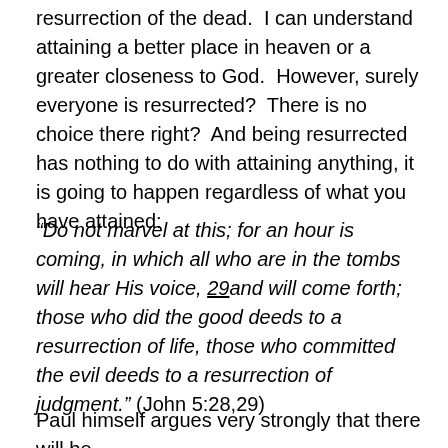resurrection of the dead.  I can understand attaining a better place in heaven or a greater closeness to God.  However, surely everyone is resurrected?  There is no choice there right?  And being resurrected has nothing to do with attaining anything, it is going to happen regardless of what you have attained:
“Do not marvel at this; for an hour is coming, in which all who are in the tombs will hear His voice, 29and will come forth; those who did the good deeds to a resurrection of life, those who committed the evil deeds to a resurrection of judgment.” (John 5:28,29)
Paul himself argues very strongly that there will be